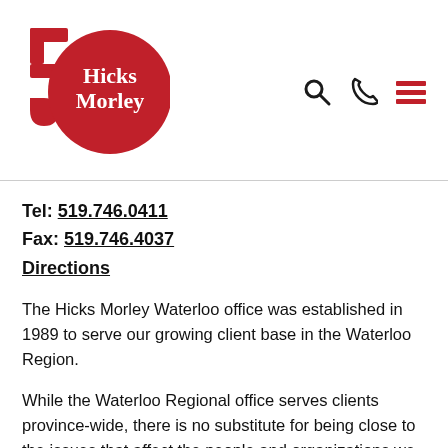[Figure (logo): Hicks Morley 50th anniversary logo — red circle with '50' and Hicks Morley text, with navigation icons (search, phone, hamburger menu) on the right]
Tel: 519.746.0411
Fax: 519.746.4037
Directions
The Hicks Morley Waterloo office was established in 1989 to serve our growing client base in the Waterloo Region.
While the Waterloo Regional office serves clients province-wide, there is no substitute for being close to the issues that affect the people and organizations we work with in the Waterloo Region and surrounding areas.